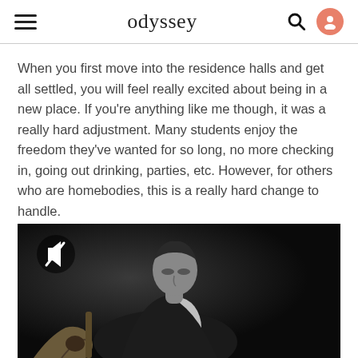odyssey
When you first move into the residence halls and get all settled, you will feel really excited about being in a new place. If you're anything like me though, it was a really hard adjustment. Many students enjoy the freedom they've wanted for so long, no more checking in, going out drinking, parties, etc. However, for others who are homebodies, this is a really hard change to handle.
[Figure (photo): Black and white photo of a young man looking down, possibly playing a guitar, with a muted video icon overlay in the top left corner.]